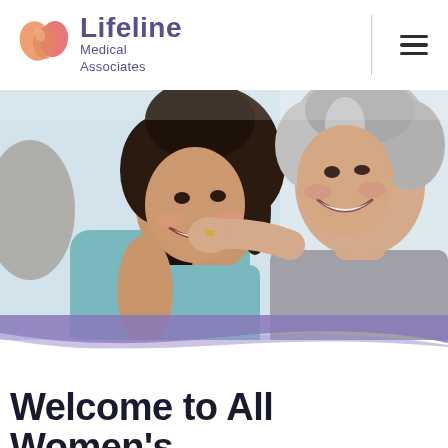[Figure (logo): Lifeline Medical Associates logo with heart graphic and cursive/sans-serif text]
[Figure (photo): Two women smiling and laughing together in a bright gym/medical setting; a younger woman in a teal tank top and an older woman with gray hair in a gray top, with the older woman's hand on the younger woman's shoulder]
Welcome to All Women's